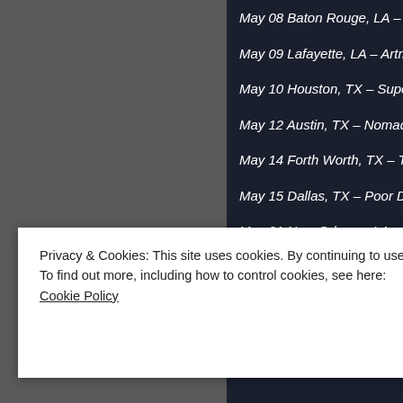May 08 Baton Rouge, LA – T...
May 09 Lafayette, LA – Artmo...
May 10 Houston, TX – Super...
May 12 Austin, TX – Nomad B...
May 14 Forth Worth, TX – The...
May 15 Dallas, TX – Poor Da...
May 21 New Orleans, LA – Ca...
Privacy & Cookies: This site uses cookies. By continuing to use this website, you agree to their use.
To find out more, including how to control cookies, see here:
Cookie Policy
Close and accept